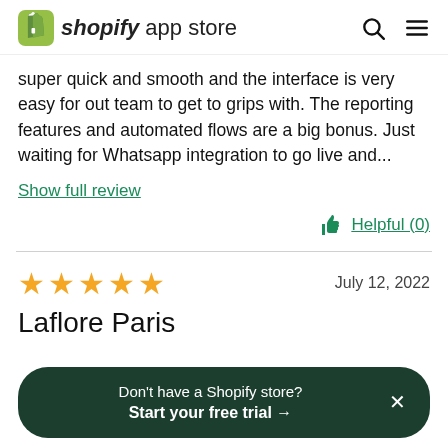shopify app store
super quick and smooth and the interface is very easy for out team to get to grips with. The reporting features and automated flows are a big bonus. Just waiting for Whatsapp integration to go live and...
Show full review
Helpful (0)
★★★★★  July 12, 2022
Laflore Paris
Don't have a Shopify store? Start your free trial →